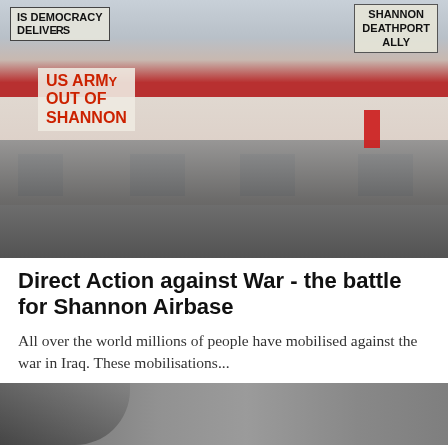[Figure (photo): Photograph of protesters on and below a building roof holding banners reading 'IS DEMOCRACY DELIVERS', 'SHANNON DEATHPORT ALLY', and 'US ARMY OUT OF SHANNON' in red and black lettering. Crowd visible at ground level, red flag visible on right side.]
Direct Action against War - the battle for Shannon Airbase
All over the world millions of people have mobilised against the war in Iraq. These mobilisations...
[Figure (photo): Black and white photograph, partially visible, showing a person in a dark jacket in foreground and blurred street/building background.]